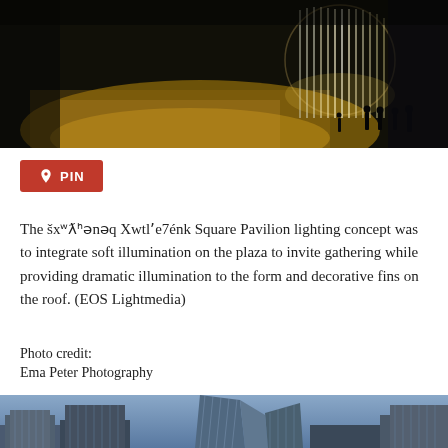[Figure (photo): Night-time aerial view of šxʷƛ̓ənəq Xwtl'e7énk Square Pavilion illuminated with warm golden light on plaza, with silhouettes of people visible and a cylindrical metallic structure with fins on top glowing brightly]
[Figure (other): Red Pinterest PIN button]
The šxʷƛ̓ənəq Xwtl'e7énk Square Pavilion lighting concept was to integrate soft illumination on the plaza to invite gathering while providing dramatic illumination to the form and decorative fins on the roof. (EOS Lightmedia)
Photo credit:
Ema Peter Photography
[Figure (photo): Daytime photo of tall glass skyscrapers against a blue sky, showing modern high-rise buildings with reflective glass facades]